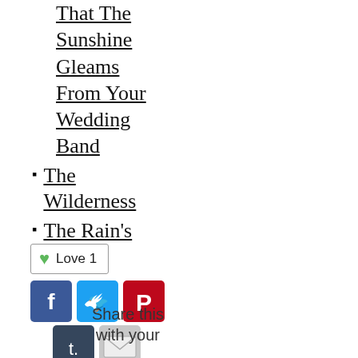That The Sunshine Gleams From Your Wedding Band
The Wilderness
The Rain's Child
[Figure (other): Love button with green heart icon and count of 1, followed by social sharing icons: Facebook, Twitter, Pinterest (row 1), Tumblr, Email (row 2), and text 'Share this with your']